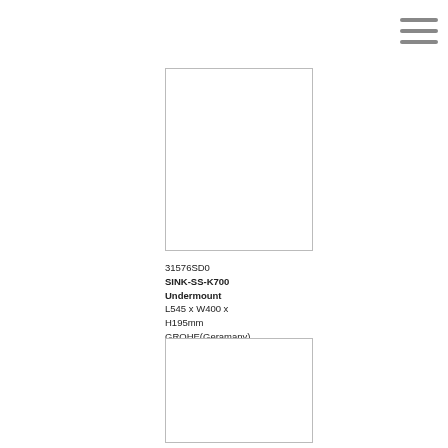[Figure (photo): Product image placeholder box (top) — empty white rectangle with border for SINK-SS-K700 Undermount sink]
31576SD0
SINK-SS-K700 Undermount
L545 x W400 x H195mm
GROHE(Geramany)
"K700 Undermount" stainless steel undercounter sink
[Figure (photo): Product image placeholder box (bottom) — empty white rectangle with border, partial view]